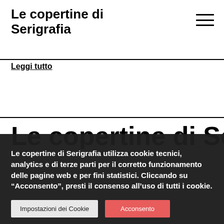Le copertine di Serigrafia
Leggi tutto
Le copertine di Serigrafia utilizza cookie tecnici, analytics e di terze parti per il corretto funzionamento delle pagine web e per fini statistici. Cliccando su “Acconsento”, presti il consenso all’uso di tutti i cookie.
Impostazioni dei Cookie
Acconsento